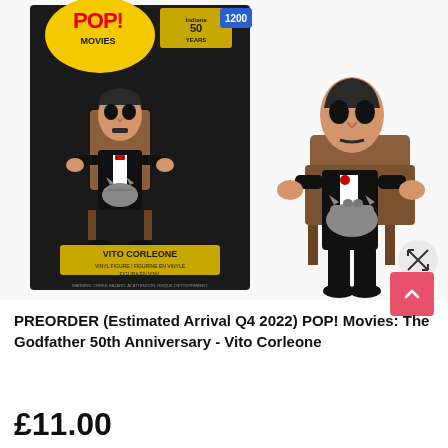[Figure (photo): Product photo showing Funko POP! Movies Vito Corleone figure #1200 from The Godfather 50th Anniversary. Left side shows the retail box with the figure inside; right side shows the unboxed vinyl figure of Vito Corleone seated in a chair holding a cat, wearing a tuxedo. A circular expand icon and a pink back-to-top button are overlaid on the image.]
PREORDER (Estimated Arrival Q4 2022) POP! Movies: The Godfather 50th Anniversary - Vito Corleone
£11.00